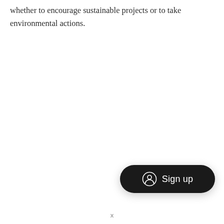whether to encourage sustainable projects or to take environmental actions.
[Figure (other): A dark rounded pill-shaped button with a person/user icon on the left and 'Sign up' text on the right, in white on a near-black background.]